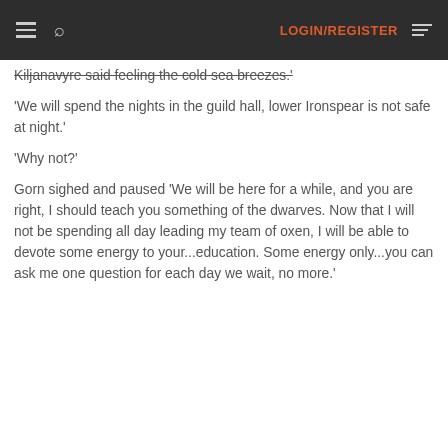LOGIN/REGISTER
Kiljanavyre said feeling the cold sea breezes.'
'We will spend the nights in the guild hall, lower Ironspear is not safe at night.'
'Why not?'
Gorn sighed and paused 'We will be here for a while, and you are right, I should teach you something of the dwarves. Now that I will not be spending all day leading my team of oxen, I will be able to devote some energy to your...education. Some energy only...you can ask me one question for each day we wait, no more.'